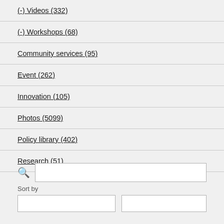(-) Videos (332)
(-) Workshops (68)
Community services (95)
Event (262)
Innovation (105)
Photos (5099)
Policy library (402)
Research (51)
Sort by